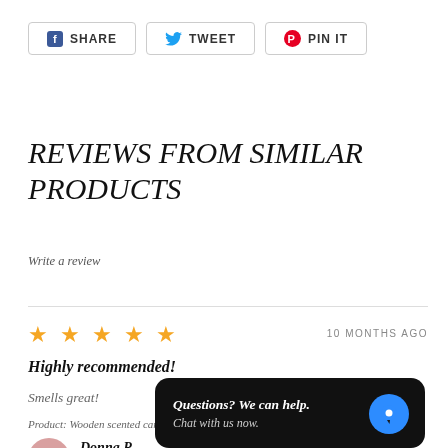[Figure (other): Social share buttons row: SHARE (Facebook), TWEET (Twitter), PIN IT (Pinterest)]
REVIEWS FROM SIMILAR PRODUCTS
Write a review
★★★★★   10 MONTHS AGO
Highly recommended!
Smells great!
Product: Wooden scented car/h...
Donna P  KIDWELLY, WALES, UNITED KINGDOM
[Figure (other): Chat widget overlay: Questions? We can help. Chat with us now. with blue chat bubble icon]